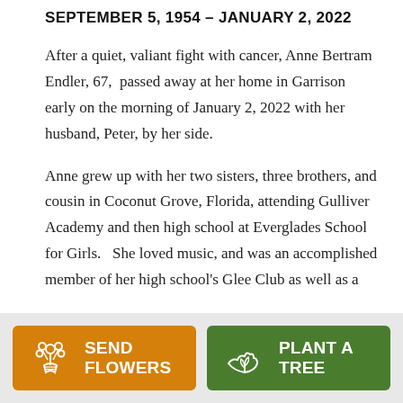SEPTEMBER 5, 1954 – JANUARY 2, 2022
After a quiet, valiant fight with cancer, Anne Bertram Endler, 67, passed away at her home in Garrison early on the morning of January 2, 2022 with her husband, Peter, by her side.
Anne grew up with her two sisters, three brothers, and cousin in Coconut Grove, Florida, attending Gulliver Academy and then high school at Everglades School for Girls.  She loved music, and was an accomplished member of her high school's Glee Club as well as a
SEND FLOWERS | PLANT A TREE